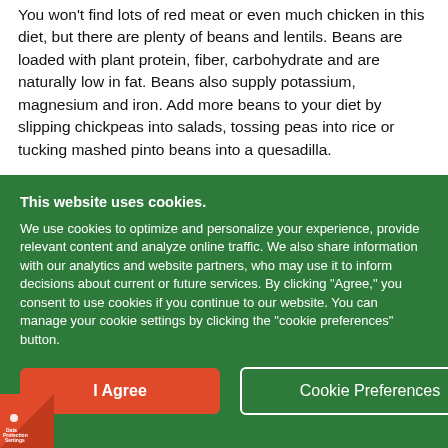You won't find lots of red meat or even much chicken in this diet, but there are plenty of beans and lentils. Beans are loaded with plant protein, fiber, carbohydrate and are naturally low in fat. Beans also supply potassium, magnesium and iron. Add more beans to your diet by slipping chickpeas into salads, tossing peas into rice or tucking mashed pinto beans into a quesadilla.
This website uses cookies.
We use cookies to optimize and personalize your experience, provide relevant content and analyze online traffic. We also share information with our analytics and website partners, who may use it to inform decisions about current or future services. By clicking "Agree," you consent to use cookies if you continue to our website. You can manage your cookie settings by clicking the "cookie preferences" button.